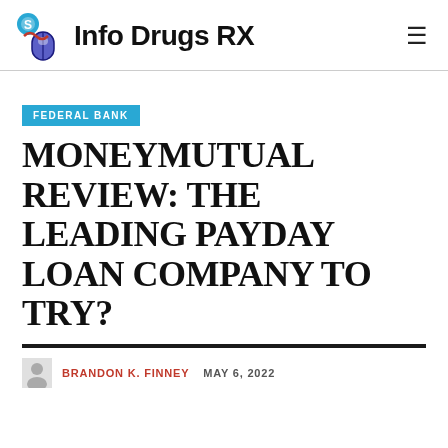Info Drugs RX
FEDERAL BANK
MONEYMUTUAL REVIEW: THE LEADING PAYDAY LOAN COMPANY TO TRY?
BRANDON K. FINNEY   MAY 6, 2022